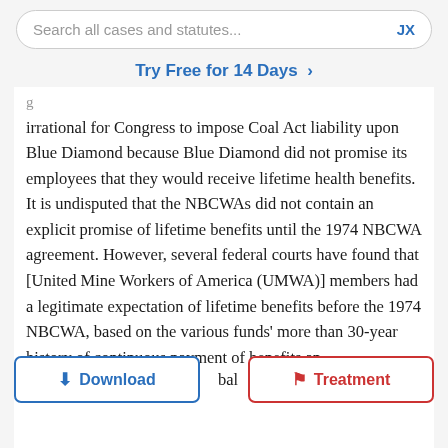Search all cases and statutes... JX
Try Free for 14 Days >
irrational for Congress to impose Coal Act liability upon Blue Diamond because Blue Diamond did not promise its employees that they would receive lifetime health benefits. It is undisputed that the NBCWAs did not contain an explicit promise of lifetime benefits until the 1974 NBCWA agreement. However, several federal courts have found that [United Mine Workers of America (UMWA)] members had a legitimate expectation of lifetime benefits before the 1974 NBCWA, based on the various funds' more than 30-year history of continuous payment of benefits an[d] bal[anced]
[Figure (screenshot): Download and Treatment buttons overlaid on text]
Davon, 75 F.3d at 1124-25 (' Congress could rationally have concluded that such participation